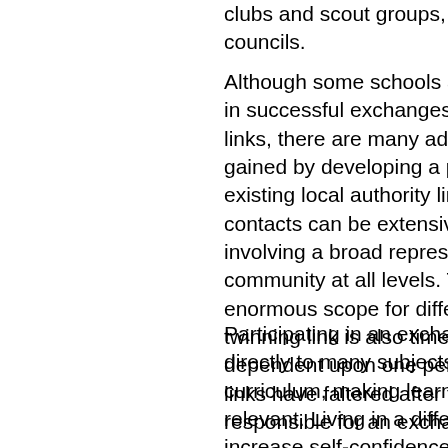clubs and scout groups, or through local youth councils.
Although some schools and colleges take part in successful exchanges outside of twinning links, there are many additional benefits to be gained by developing a partnership within an existing local authority link. The range of contacts can be extensive and diverse, involving a broad representation of the community at all levels. This provides enormous scope for different projects. A twinning link is also timeless and is not dependent upon one person. Some school links have faltered after the staff member responsible for an exchange has le...
Participating in an exchange can contribute directly to many subjects within the national curriculum, making learning more fun and relevant. Living in a different country can also increase self-confidence and practical skills, through experiences such as using...